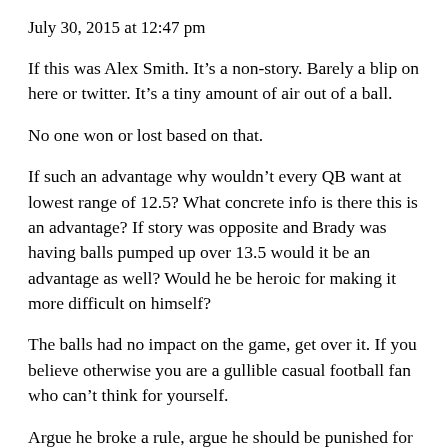July 30, 2015 at 12:47 pm
If this was Alex Smith. It’s a non-story. Barely a blip on here or twitter. It’s a tiny amount of air out of a ball.
No one won or lost based on that.
If such an advantage why wouldn’t every QB want at lowest range of 12.5? What concrete info is there this is an advantage? If story was opposite and Brady was having balls pumped up over 13.5 would it be an advantage as well? Would he be heroic for making it more difficult on himself?
The balls had no impact on the game, get over it. If you believe otherwise you are a gullible casual football fan who can’t think for yourself.
Argue he broke a rule, argue he should be punished for that but stop with the it “impacted the game”. The outrage is ridiculous. Tomlin interfering with kick return had so much more of impact then this and it’s not even close. He got a $100k fine